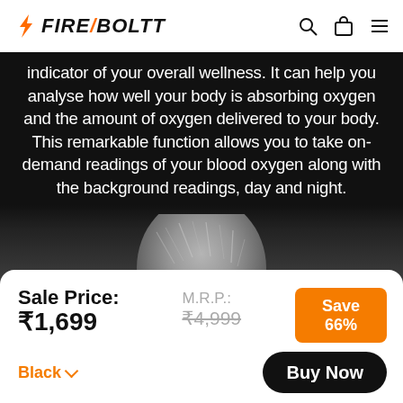FIRE/BOLTT
indicator of your overall wellness. It can help you analyse how well your body is absorbing oxygen and the amount of oxygen delivered to your body. This remarkable function allows you to take on-demand readings of your blood oxygen along with the background readings, day and night.
[Figure (photo): Black and white photo of the back of a person's head with gray/white hair against a dark background]
Sale Price: ₹1,699 | M.R.P.: ₹4,999 | Save 66% | Black ▾ | Buy Now